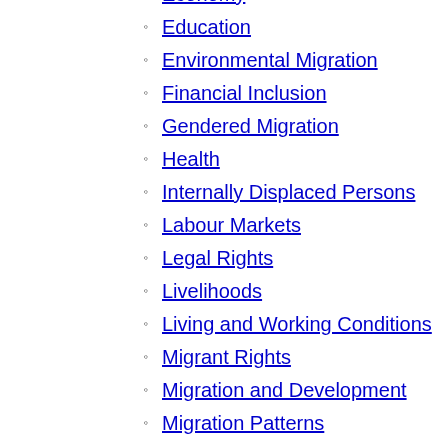Economy
Education
Environmental Migration
Financial Inclusion
Gendered Migration
Health
Internally Displaced Persons
Labour Markets
Legal Rights
Livelihoods
Living and Working Conditions
Migrant Rights
Migration and Development
Migration Patterns
Partner Initiatives
political Inclusion
Political Rights
Refugees
Research
Skill Development
Trafficking
Uncategorized
Urbanization
Welfare Schemes
Women Migrants